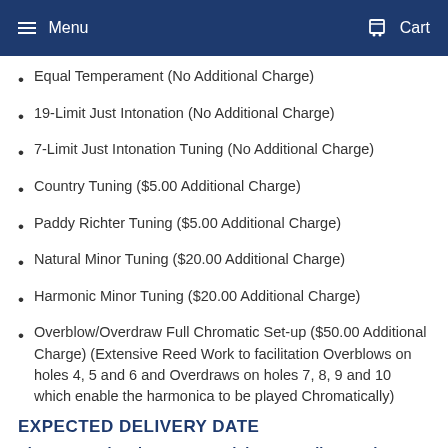Menu  Cart
Equal Temperament (No Additional Charge)
19-Limit Just Intonation (No Additional Charge)
7-Limit Just Intonation Tuning (No Additional Charge)
Country Tuning ($5.00 Additional Charge)
Paddy Richter Tuning ($5.00 Additional Charge)
Natural Minor Tuning ($20.00 Additional Charge)
Harmonic Minor Tuning ($20.00 Additional Charge)
Overblow/Overdraw Full Chromatic Set-up ($50.00 Additional Charge) (Extensive Reed Work to facilitation Overblows on holes 4, 5 and 6 and Overdraws on holes 7, 8, 9 and 10 which enable the harmonica to be played Chromatically)
EXPECTED DELIVERY DATE
Please note that the turnaround time on Built-to-Order